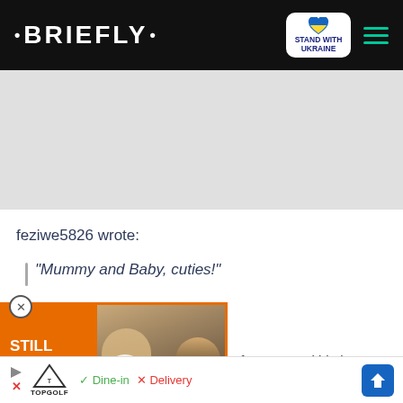· BRIEFLY · | STAND WITH UKRAINE
[Figure (other): Gray advertisement placeholder area]
feziwe5826 wrote:
"Mummy and Baby, cuties!"
[Figure (other): Video thumbnail ad showing two people with text STILL CARE FOR EACH OTHER, with orange border and play button]
fast. Ke ausi hle lena."
ommented:
[Figure (other): Bottom advertisement bar: Topgolf logo, Dine-in checkmark, Delivery X, navigation arrow]